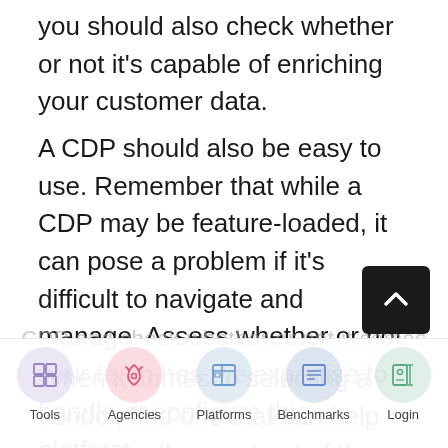you should also check whether or not it's capable of enriching your customer data.
A CDP should also be easy to use. Remember that while a CDP may be feature-loaded, it can pose a problem if it's difficult to navigate and manage. Assess whether or not your team has the expertise to handle or configure this platform.
When it comes to selecting a vendor, find one that can help you make the most out of the CDP and check whether or not it comes supported or...
Tools | Agencies | Platforms | Benchmarks | Login